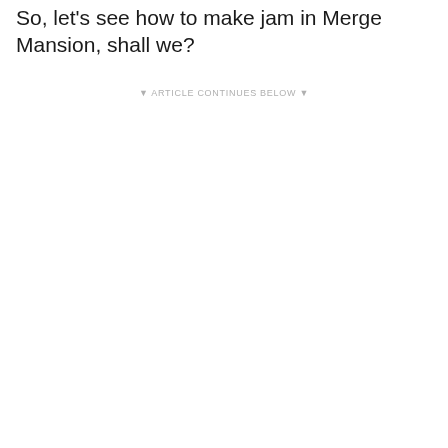So, let's see how to make jam in Merge Mansion, shall we?
▼ ARTICLE CONTINUES BELOW ▼